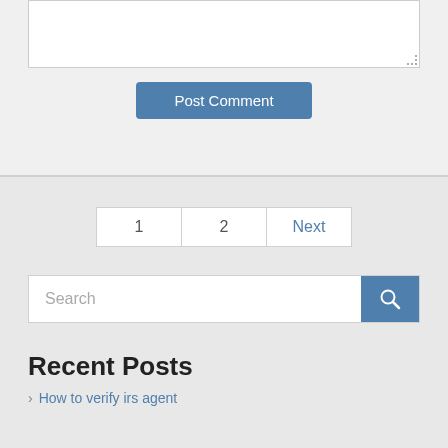[Figure (screenshot): Comment textarea input box (white, resizable)]
Post Comment
1  2  Next
Search
Recent Posts
How to verify irs agent